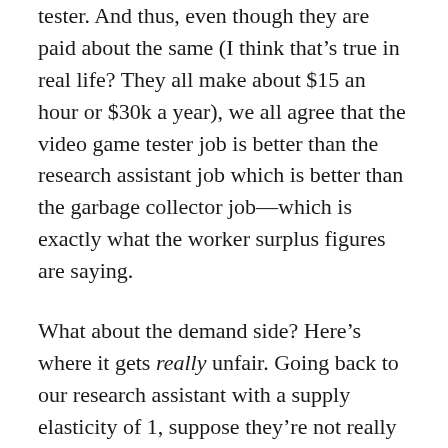tester. And thus, even though they are paid about the same (I think that's true in real life? They all make about $15 an hour or $30k a year), we all agree that the video game tester job is better than the research assistant job which is better than the garbage collector job—which is exactly what the worker surplus figures are saying.
What about the demand side? Here's where it gets really unfair. Going back to our research assistant with a supply elasticity of 1, suppose they're not really that good a researcher. Their output isn't wrong, but it's also not very interesting. They can do the basic statistics, but they aren't very creative and they don't have a